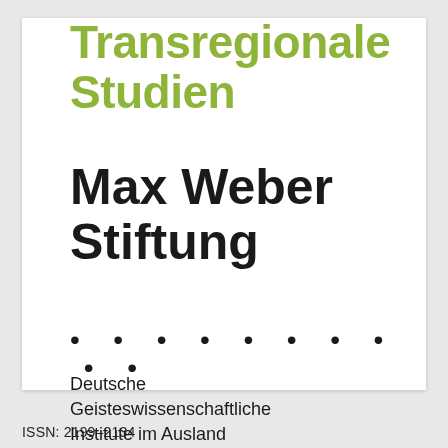Transregionale Studien
Max Weber Stiftung
• • • • • • • • • •
Deutsche Geisteswissenschaftliche Institute im Ausland
ISSN: 2199-2134